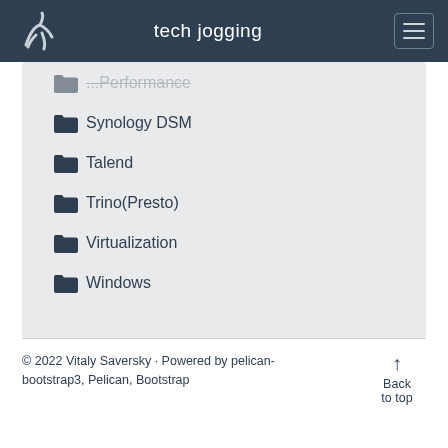tech jogging
Synology DSM
Talend
Trino(Presto)
Virtualization
Windows
© 2022 Vitaly Saversky · Powered by pelican-bootstrap3, Pelican, Bootstrap